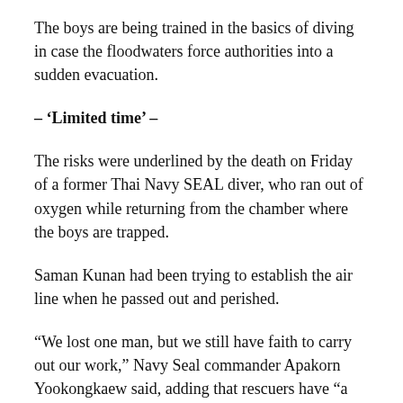The boys are being trained in the basics of diving in case the floodwaters force authorities into a sudden evacuation.
– ‘Limited time’ –
The risks were underlined by the death on Friday of a former Thai Navy SEAL diver, who ran out of oxygen while returning from the chamber where the boys are trapped.
Saman Kunan had been trying to establish the air line when he passed out and perished.
“We lost one man, but we still have faith to carry out our work,” Navy Seal commander Apakorn Yookongkaew said, adding that rescuers have “a limited time” to extract the